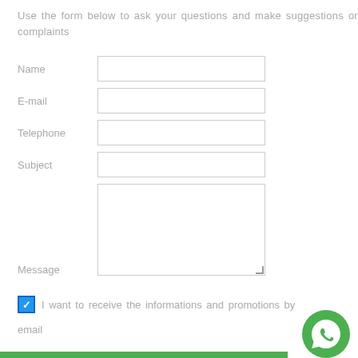Use the form below to ask your questions and make suggestions or complaints
Name [input field]
E-mail [input field]
Telephone [input field]
Subject [input field]
Message [textarea]
I want to receive the informations and promotions by
email
[Figure (logo): WhatsApp green circle logo with white phone icon]